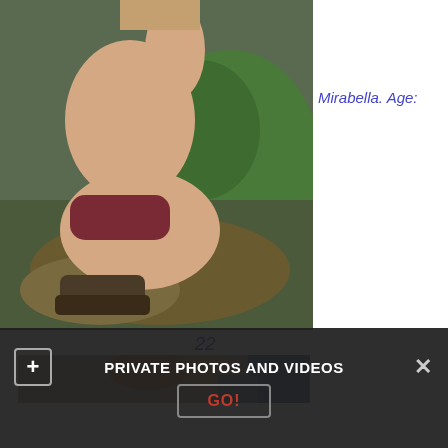[Figure (photo): Woman crouching on mossy rocks near water, wearing dark red bottom and boots, with blonde hair, outdoor nature setting]
Mirabella. Age:
22
[Figure (photo): Partial view of second photo showing a person with reddish-blonde hair]
PRIVATE PHOTOS AND VIDEOS
GO!